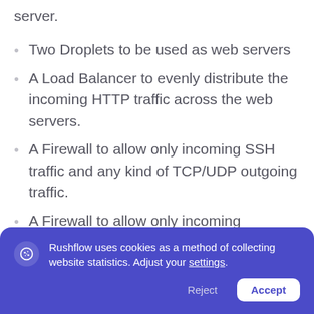server.
Two Droplets to be used as web servers
A Load Balancer to evenly distribute the incoming HTTP traffic across the web servers.
A Firewall to allow only incoming SSH traffic and any kind of TCP/UDP outgoing traffic.
A Firewall to allow only incoming HTTP/HTTPs traffic from the Load balancer to the web servers.
Rushflow uses cookies as a method of collecting website statistics. Adjust your settings.